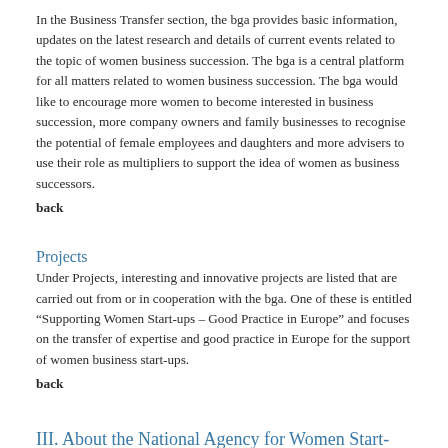In the Business Transfer section, the bga provides basic information, updates on the latest research and details of current events related to the topic of women business succession. The bga is a central platform for all matters related to women business succession. The bga would like to encourage more women to become interested in business succession, more company owners and family businesses to recognise the potential of female employees and daughters and more advisers to use their role as multipliers to support the idea of women as business successors.
back
Projects
Under Projects, interesting and innovative projects are listed that are carried out from or in cooperation with the bga. One of these is entitled “Supporting Women Start-ups – Good Practice in Europe” and focuses on the transfer of expertise and good practice in Europe for the support of women business start-ups.
back
III. About the National Agency for Women Start-ups Activities and Services